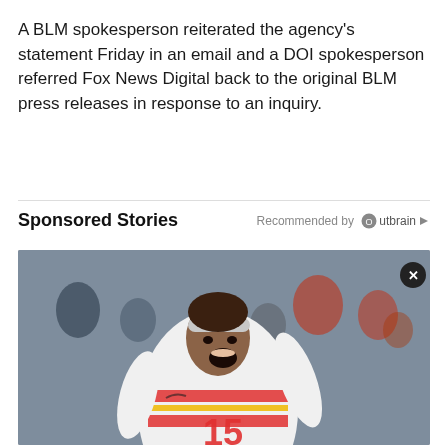A BLM spokesperson reiterated the agency's statement Friday in an email and a DOI spokesperson referred Fox News Digital back to the original BLM press releases in response to an inquiry.
Sponsored Stories
Recommended by Outbrain
[Figure (photo): NFL player wearing Kansas City Chiefs #15 jersey (Patrick Mahomes) celebrating with mouth open, wearing white headband, crowd visible in background]